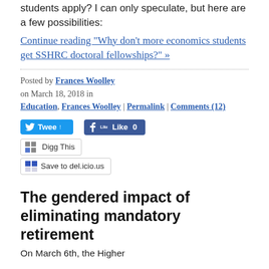students apply? I can only speculate, but here are a few possibilities:
Continue reading "Why don't more economics students get SSHRC doctoral fellowships?" »
Posted by Frances Woolley on March 18, 2018 in Education, Frances Woolley | Permalink | Comments (12)
[Figure (screenshot): Social sharing buttons: Tweet (Twitter), Like 0 (Facebook), Digg This, Save to del.icio.us]
The gendered impact of eliminating mandatory retirement
On March 6th, the Higher...